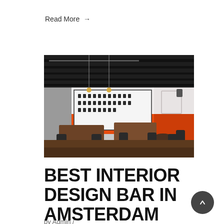Read More →
[Figure (photo): Interior of a bar/restaurant in Amsterdam with orange accent walls, dark wood tables and chairs, black ceiling with pendant lights, and a wall display of framed items.]
BEST INTERIOR DESIGN BAR IN AMSTERDAM
by Admin /